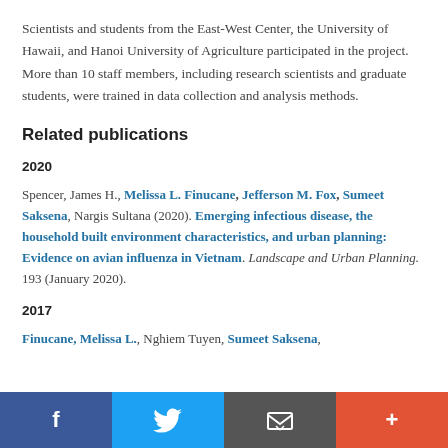Scientists and students from the East-West Center, the University of Hawaii, and Hanoi University of Agriculture participated in the project. More than 10 staff members, including research scientists and graduate students, were trained in data collection and analysis methods.
Related publications
2020
Spencer, James H., Melissa L. Finucane, Jefferson M. Fox, Sumeet Saksena, Nargis Sultana (2020). Emerging infectious disease, the household built environment characteristics, and urban planning: Evidence on avian influenza in Vietnam. Landscape and Urban Planning. 193 (January 2020).
2017
Finucane, Melissa L., Nghiem Tuyen, Sumeet Saksena,